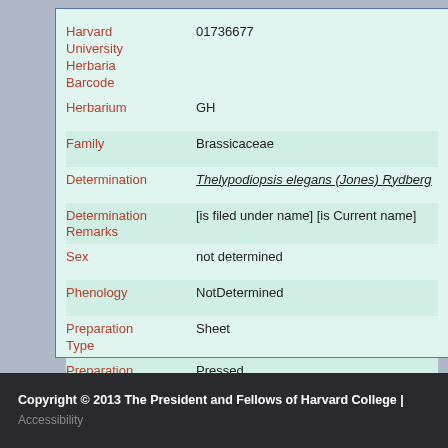| Field | Value |
| --- | --- |
| Harvard University Herbaria Barcode | 01736677 |
| Herbarium | GH |
| Family | Brassicaceae |
| Determination | Thelypodiopsis elegans (Jones) Rydberg |
| Determination Remarks | [is filed under name] [is Current name] |
| Sex | not determined |
| Phenology | NotDetermined |
| Preparation Type | Sheet |
| Preparation Method | Pressed |
Copyright © 2013 The President and Fellows of Harvard College | Accessibility